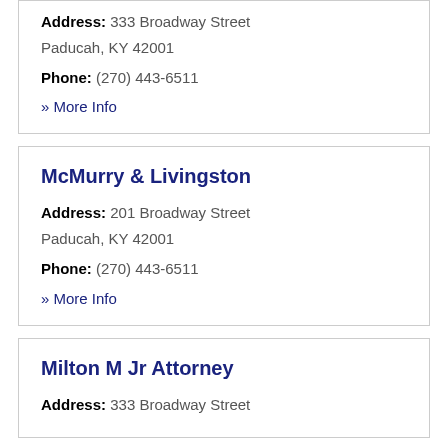Address: 333 Broadway Street Paducah, KY 42001
Phone: (270) 443-6511
» More Info
McMurry & Livingston
Address: 201 Broadway Street Paducah, KY 42001
Phone: (270) 443-6511
» More Info
Milton M Jr Attorney
Address: 333 Broadway Street